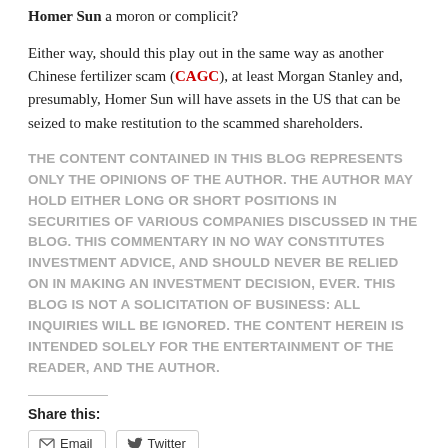Homer Sun a moron or complicit?
Either way, should this play out in the same way as another Chinese fertilizer scam (CAGC), at least Morgan Stanley and, presumably, Homer Sun will have assets in the US that can be seized to make restitution to the scammed shareholders.
THE CONTENT CONTAINED IN THIS BLOG REPRESENTS ONLY THE OPINIONS OF THE AUTHOR. THE AUTHOR MAY HOLD EITHER LONG OR SHORT POSITIONS IN SECURITIES OF VARIOUS COMPANIES DISCUSSED IN THE BLOG. THIS COMMENTARY IN NO WAY CONSTITUTES INVESTMENT ADVICE, AND SHOULD NEVER BE RELIED ON IN MAKING AN INVESTMENT DECISION, EVER. THIS BLOG IS NOT A SOLICITATION OF BUSINESS: ALL INQUIRIES WILL BE IGNORED. THE CONTENT HEREIN IS INTENDED SOLELY FOR THE ENTERTAINMENT OF THE READER, AND THE AUTHOR.
Share this:
Email   Twitter